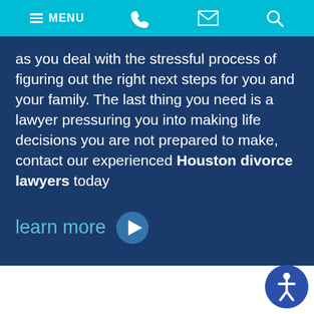MENU
as you deal with the stressful process of figuring out the right next steps for you and your family. The last thing you need is a lawyer pressuring you into making life decisions you are not prepared to make, contact our experienced Houston divorce lawyers today
learn more